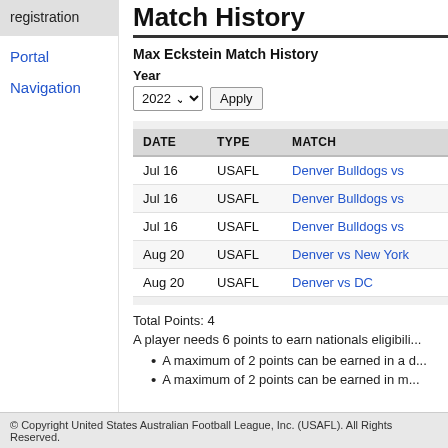registration
Portal
Navigation
Match History
Max Eckstein Match History
Year 2022 Apply
| DATE | TYPE | MATCH |
| --- | --- | --- |
| Jul 16 | USAFL | Denver Bulldogs vs |
| Jul 16 | USAFL | Denver Bulldogs vs |
| Jul 16 | USAFL | Denver Bulldogs vs |
| Aug 20 | USAFL | Denver vs New York |
| Aug 20 | USAFL | Denver vs DC |
Total Points: 4
A player needs 6 points to earn nationals eligibili...
A maximum of 2 points can be earned in a d...
A maximum of 2 points can be earned in m...
© Copyright United States Australian Football League, Inc. (USAFL). All Rights Reserved.